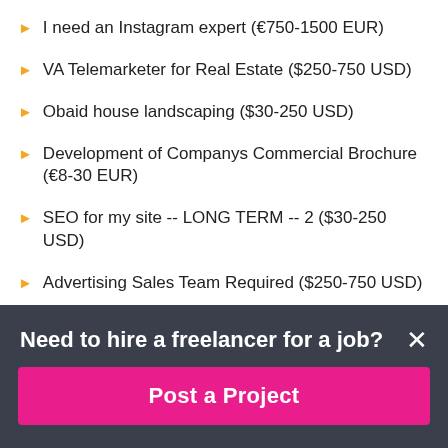I need an Instagram expert (€750-1500 EUR)
VA Telemarketer for Real Estate ($250-750 USD)
Obaid house landscaping ($30-250 USD)
Development of Companys Commercial Brochure (€8-30 EUR)
SEO for my site -- LONG TERM -- 2 ($30-250 USD)
Advertising Sales Team Required ($250-750 USD)
MARKETING CALLER (₹600-10000 INR)
Warm lead generation and processing ($2-8 USD / hour)
Need to hire a freelancer for a job?
Post a Project